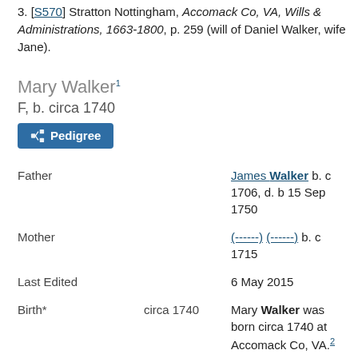3. [S570] Stratton Nottingham, Accomack Co, VA, Wills & Administrations, 1663-1800, p. 259 (will of Daniel Walker, wife Jane).
Mary Walker¹
F, b. circa 1740
Pedigree (button)
|  |  |  |
| --- | --- | --- |
| Father |  | James Walker b. c 1706, d. b 15 Sep 1750 |
| Mother |  | (------) (------) b. c 1715 |
| Last Edited |  | 6 May 2015 |
| Birth* | circa 1740 | Mary Walker was born circa 1740 at Accomack Co, VA.² |
| Will - GrMoth's* | 15 September 1750 | Mary was named in her grandmother's will on 15 September 1750 at Accomack Co, VA. She was shown as a daughter to M... |